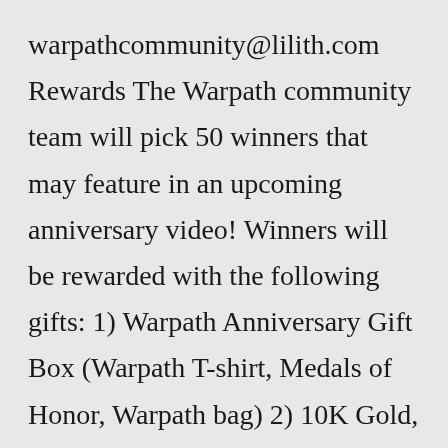warpathcommunity@lilith.com Rewards The Warpath community team will pick 50 winners that may feature in an upcoming anniversary video! Winners will be rewarded with the following gifts: 1) Warpath Anniversary Gift Box (Warpath T-shirt, Medals of Honor, Warpath bag) 2) 10K Gold, 10 Camp Coupons.Warpath will sometimes glitch and take you a long time to try different solutions. LoginAsk is here